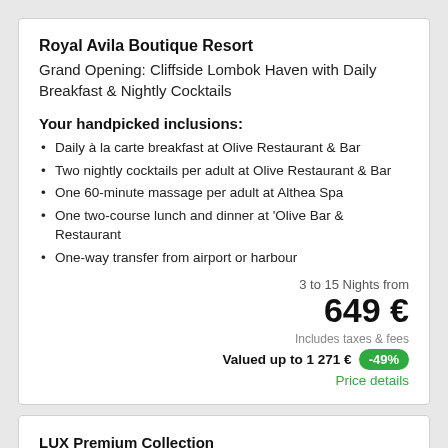Royal Avila Boutique Resort
Grand Opening: Cliffside Lombok Haven with Daily Breakfast & Nightly Cocktails
Your handpicked inclusions:
Daily à la carte breakfast at Olive Restaurant & Bar
Two nightly cocktails per adult at Olive Restaurant & Bar
One 60-minute massage per adult at Althea Spa
One two-course lunch and dinner at 'Olive Bar & Restaurant
One-way transfer from airport or harbour
3 to 15 Nights from
649 €
Includes taxes & fees
Valued up to 1 271 € -49%
Price details
LUX Premium Collection